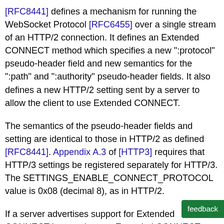[RFC8441] defines a mechanism for running the WebSocket Protocol [RFC6455] over a single stream of an HTTP/2 connection. It defines an Extended CONNECT method which specifies a new ":protocol" pseudo-header field and new semantics for the ":path" and ":authority" pseudo-header fields. It also defines a new HTTP/2 setting sent by a server to allow the client to use Extended CONNECT.
The semantics of the pseudo-header fields and setting are identical to those in HTTP/2 as defined [RFC8441]. Appendix A.3 of [HTTP3] requires that HTTP/3 settings be registered separately for HTTP/3. The SETTINGS_ENABLE_CONNECT_PROTOCOL value is 0x08 (decimal 8), as in HTTP/2.
If a server advertises support for Extended CONNECT but receives an Extended CONNECT request with a ":protocol" value that is unknown or is not supp...